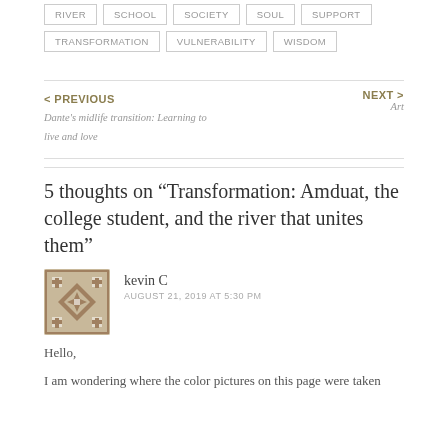RIVER   SCHOOL   SOCIETY   SOUL   SUPPORT
TRANSFORMATION   VULNERABILITY   WISDOM
< PREVIOUS
Dante's midlife transition: Learning to live and love
NEXT >
Art
5 thoughts on “Transformation: Amduat, the college student, and the river that unites them”
kevin C
AUGUST 21, 2019 AT 5:30 PM
Hello,
I am wondering where the color pictures on this page were taken